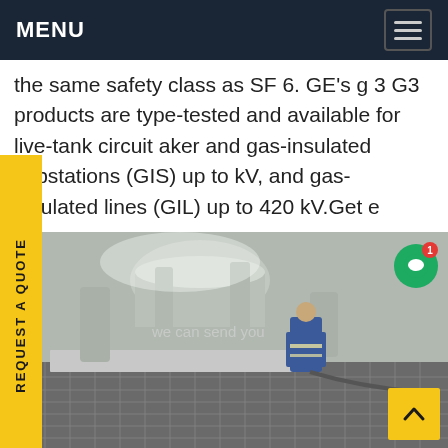MENU
the same safety class as SF 6. GE's g 3 G3 products are type-tested and available for live-tank circuit aker and gas-insulated substations (GIS) up to kV, and gas-insulated lines (GIL) up to 420 kV.Get e
[Figure (photo): Worker in blue protective coveralls working near large industrial gas-insulated substation equipment and pipes on a paved surface]
REQUEST A QUOTE